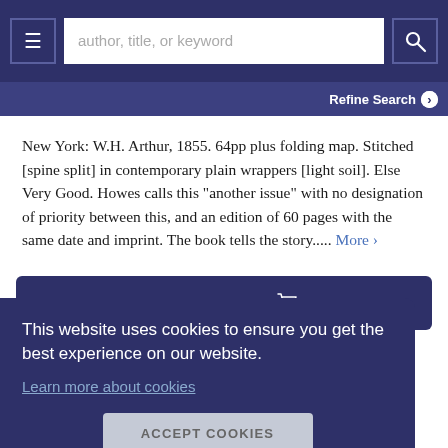≡  author, title, or keyword  🔍
Refine Search ›
New York: W.H. Arthur, 1855. 64pp plus folding map. Stitched [spine split] in contemporary plain wrappers [light soil]. Else Very Good. Howes calls this "another issue" with no designation of priority between this, and an edition of 60 pages with the same date and imprint. The book tells the story..... More ›
ADD TO CART 🛒
This website uses cookies to ensure you get the best experience on our website.
Learn more about cookies
ACCEPT COOKIES
War Department.